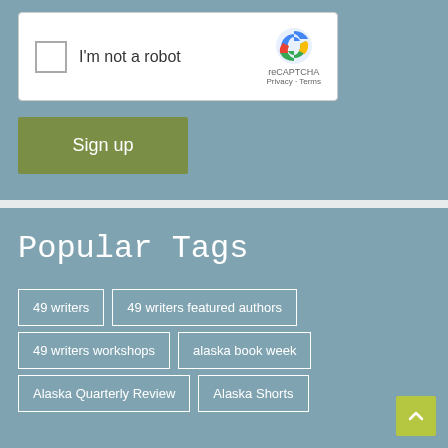[Figure (screenshot): reCAPTCHA widget showing checkbox 'I'm not a robot' with reCAPTCHA logo, Privacy and Terms links]
Sign up
Popular Tags
49 writers
49 writers featured authors
49 writers workshops
alaska book week
Alaska Quarterly Review
Alaska Shorts